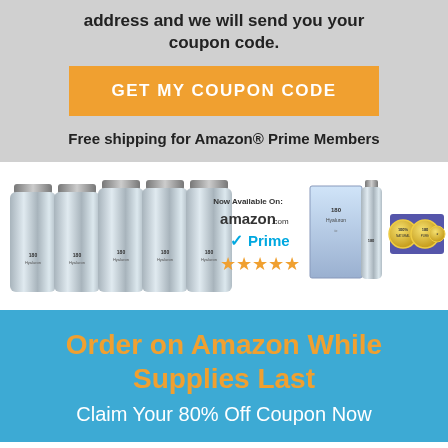address and we will send you your coupon code.
GET MY COUPON CODE
Free shipping for Amazon® Prime Members
[Figure (photo): Product bottles of 180 Hyaluronic serum shown in a group of five, with an Amazon.com Prime badge and 5-star rating, plus individual product bottles and a box with certification badges on a blue strip]
Order on Amazon While Supplies Last
Claim Your 80% Off Coupon Now